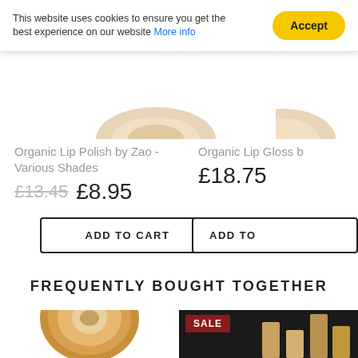This website uses cookies to ensure you get the best experience on our website More info
Accept
[Figure (photo): Partial product image of Organic Lip Polish (top portion visible, beige/tan tone)]
Organic Lip Polish by Zao - Various Shades
£13.45 £8.95
ADD TO CART
[Figure (photo): Partial product image of Organic Lip Gloss (top portion visible)]
Organic Lip Gloss b
£18.75
ADD TO
FREQUENTLY BOUGHT TOGETHER
[Figure (photo): Tan/brown paper tape roll (kraft tape) on white background]
[Figure (photo): Product on dark background with SALE badge in red]